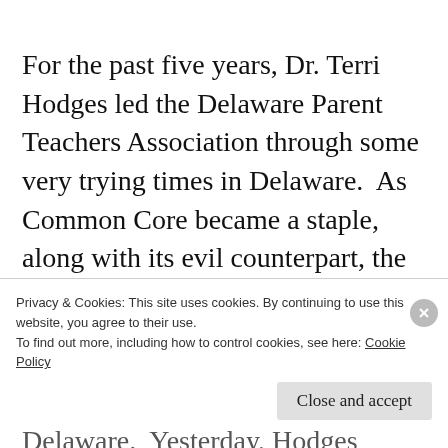For the past five years, Dr. Terri Hodges led the Delaware Parent Teachers Association through some very trying times in Delaware.  As Common Core became a staple, along with its evil counterpart, the Smarter Balanced Assessment, Hodges stood up for parents during the opt out movement in Delaware.  Yesterday, Hodges turned
Privacy & Cookies: This site uses cookies. By continuing to use this website, you agree to their use.
To find out more, including how to control cookies, see here: Cookie Policy